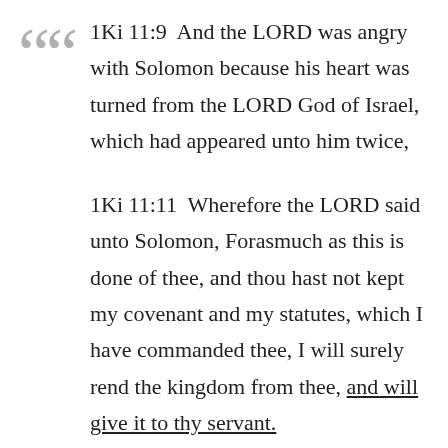1Ki 11:9  And the LORD was angry with Solomon because his heart was turned from the LORD God of Israel, which had appeared unto him twice,
1Ki 11:11  Wherefore the LORD said unto Solomon, Forasmuch as this is done of thee, and thou hast not kept my covenant and my statutes, which I have commanded thee, I will surely rend the kingdom from thee, and will give it to thy servant.